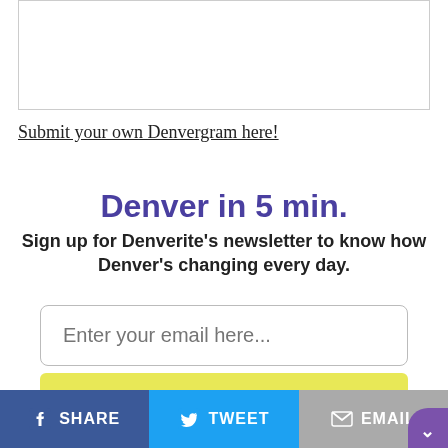[Figure (other): A white bordered image box at the top of the page (content above visible area)]
Submit your own Denvergram here!
Denver in 5 min.
Sign up for Denverite's newsletter to know how Denver's changing every day.
[Figure (other): Email input field with placeholder text 'Enter your email here...']
[Figure (other): Yellow 'SIGN ME UP!' button]
SHARE   TWEET   EMAIL